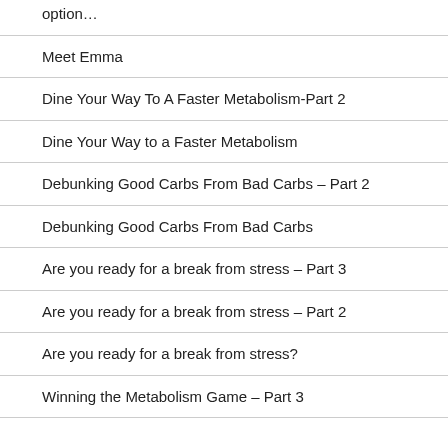option…
Meet Emma
Dine Your Way To A Faster Metabolism-Part 2
Dine Your Way to a Faster Metabolism
Debunking Good Carbs From Bad Carbs – Part 2
Debunking Good Carbs From Bad Carbs
Are you ready for a break from stress – Part 3
Are you ready for a break from stress – Part 2
Are you ready for a break from stress?
Winning the Metabolism Game – Part 3